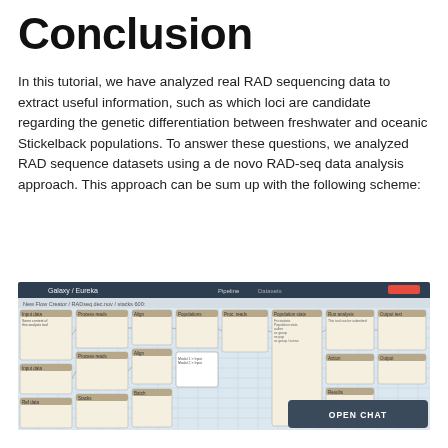Conclusion
In this tutorial, we have analyzed real RAD sequencing data to extract useful information, such as which loci are candidate regarding the genetic differentiation between freshwater and oceanic Stickelback populations. To answer these questions, we analyzed RAD sequence datasets using a de novo RAD-seq data analysis approach. This approach can be sum up with the following scheme:
[Figure (screenshot): Screenshot of a Galaxy / Eureka bioinformatics workflow interface showing a complex RAD-seq analysis pipeline with multiple connected workflow steps and tool nodes.]
OPEN CHAT